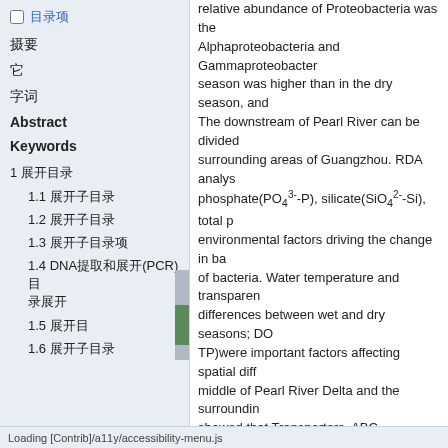☐ [Chinese characters]
[Chinese characters]
[Chinese characters]
[Chinese characters]
Abstract
Keywords
1 [Chinese characters]
1.1 [Chinese characters]
1.2 [Chinese characters]
1.3 [Chinese characters]
1.4 DNA[Chinese characters](PCR)[Chinese characters]
1.5 [Chinese characters]
1.6 [Chinese characters]
relative abundance of Proteobacteria was the... Alphaproteobacteria and Gammaproteobacter... season was higher than in the dry season, and... The downstream of Pearl River can be divided... surrounding areas of Guangzhou. RDA analys... phosphate(PO4^3--P), silicate(SiO4^2--Si), total p... environmental factors driving the change in ba... of bacteria. Water temperature and transparen... differences between wet and dry seasons; DO... TP)were important factors affecting spatial diff... middle of Pearl River Delta and the surroundin... showed that Transporters, ABC transporters, D... expressed by the bacterioplankton community... Transporters were significantly higher in the we... scientific reference for the ecological environm...
Keywords: Bacterioplankton   the downstrea...   spatial characteristics   community structure
[Chinese body text paragraph 1]
[Chinese body text paragraph 2 with references [4-5] and [4][6][7]]